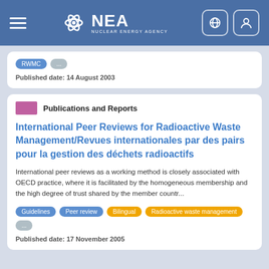NEA Nuclear Energy Agency
RWMC ...
Published date: 14 August 2003
Publications and Reports
International Peer Reviews for Radioactive Waste Management/Revues internationales par des pairs pour la gestion des déchets radioactifs
International peer reviews as a working method is closely associated with OECD practice, where it is facilitated by the homogeneous membership and the high degree of trust shared by the member countr...
Guidelines  Peer review  Bilingual  Radioactive waste management  ...
Published date: 17 November 2005